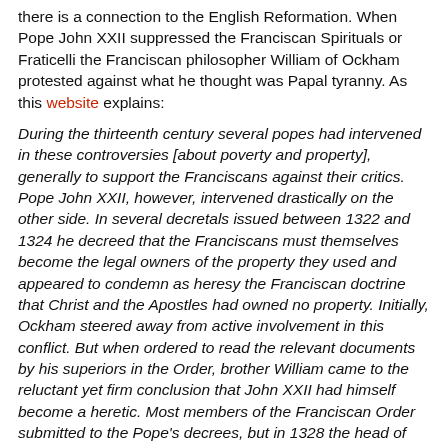there is a connection to the English Reformation. When Pope John XXII suppressed the Franciscan Spirituals or Fraticelli the Franciscan philosopher William of Ockham protested against what he thought was Papal tyranny. As this website explains:
During the thirteenth century several popes had intervened in these controversies [about poverty and property], generally to support the Franciscans against their critics. Pope John XXII, however, intervened drastically on the other side. In several decretals issued between 1322 and 1324 he decreed that the Franciscans must themselves become the legal owners of the property they used and appeared to condemn as heresy the Franciscan doctrine that Christ and the Apostles had owned no property. Initially, Ockham steered away from active involvement in this conflict. But when ordered to read the relevant documents by his superiors in the Order, brother William came to the reluctant yet firm conclusion that John XXII had himself become a heretic. Most members of the Franciscan Order submitted to the Pope's decrees, but in 1328 the head of the Order (Michael of Cesena) and several others including William of Ockham broke with John XXII and eventually sought the